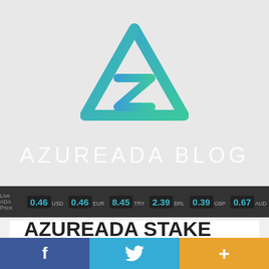[Figure (logo): AzureADA triangle logo with gradient from blue to teal/green, containing a stylized 'Z' shape inside the triangle outline]
AZUREADA BLOG
Live ADA Price 0.46 USD 0.46 EUR 8.45 TRY 2.39 BRL 0.39 GBP 0.67 AUD
AZUREADA STAKE
f (Facebook share) | bird icon (Twitter share) | + (more share options)